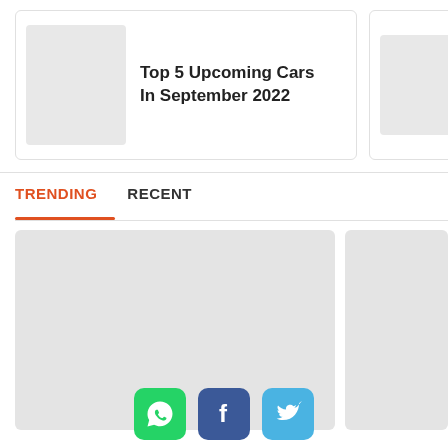[Figure (screenshot): Thumbnail placeholder image for article card (gray rectangle)]
Top 5 Upcoming Cars In September 2022
[Figure (screenshot): Partially visible thumbnail placeholder for second article (gray rectangle)]
Suz... Sho... Afric...
TRENDING
RECENT
[Figure (photo): Large gray placeholder image in trending section]
[Figure (photo): Partially visible gray placeholder image in trending section]
[Figure (screenshot): WhatsApp share button icon (green)]
[Figure (screenshot): Facebook share button icon (dark blue)]
[Figure (screenshot): Twitter share button icon (light blue)]